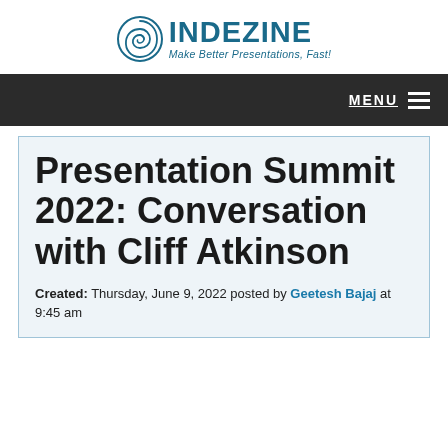INDEZINE — Make Better Presentations, Fast!
Presentation Summit 2022: Conversation with Cliff Atkinson
Created: Thursday, June 9, 2022 posted by Geetesh Bajaj at 9:45 am